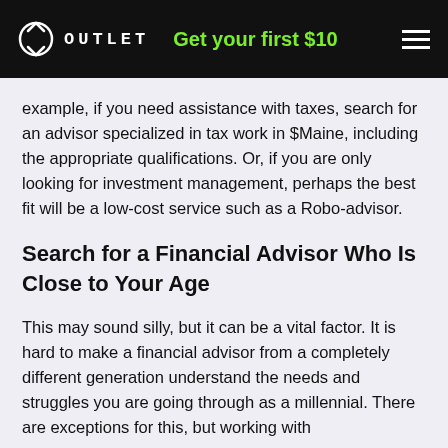OUTLET  Get your first $10
example, if you need assistance with taxes, search for an advisor specialized in tax work in $Maine, including the appropriate qualifications. Or, if you are only looking for investment management, perhaps the best fit will be a low-cost service such as a Robo-advisor.
Search for a Financial Advisor Who Is Close to Your Age
This may sound silly, but it can be a vital factor. It is hard to make a financial advisor from a completely different generation understand the needs and struggles you are going through as a millennial. There are exceptions for this, but working with